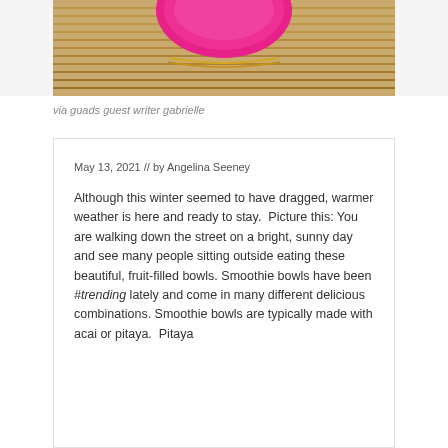[Figure (photo): Close-up photo of a bright pink/magenta smoothie bowl on a bamboo mat background, cropped at top]
via guads guest writer gabrielle
May 13, 2021  //  by Angelina Seeney
Although this winter seemed to have dragged, warmer weather is here and ready to stay.  Picture this: You are walking down the street on a bright, sunny day and see many people sitting outside eating these beautiful, fruit-filled bowls. Smoothie bowls have been #trending lately and come in many different delicious combinations. Smoothie bowls are typically made with acai or pitaya.  Pitaya